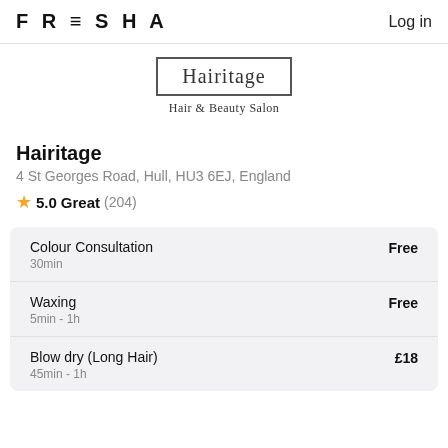FRESHA  Log in
[Figure (logo): Hairitage Hair & Beauty Salon logo — rectangular border with 'Hairitage' in serif font and 'Hair & Beauty Salon' subtitle]
Hairitage
4 St Georges Road, Hull, HU3 6EJ, England
⭐ 5.0 Great (204)
| Service | Price |
| --- | --- |
| Colour Consultation
30min | Free |
| Waxing
5min - 1h | Free |
| Blow dry (Long Hair)
45min - 1h | £18 |